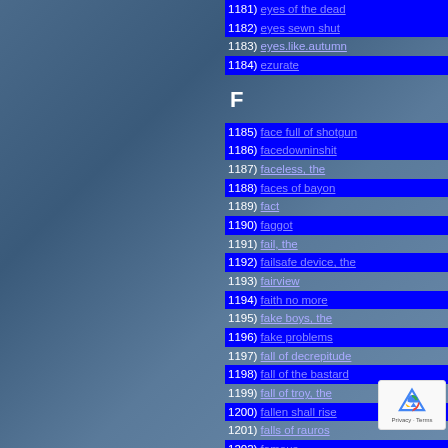1181) eyes of the dead
1182) eyes sewn shut
1183) eyes.like.autumn
1184) ezurate
F
1185) face full of shotgun
1186) facedowninshit
1187) faceless, the
1188) faces of bayon
1189) fact
1190) faggot
1191) fail, the
1192) failsafe device, the
1193) fairview
1194) faith no more
1195) fake boys, the
1196) fake problems
1197) fall of decrepitude
1198) fall of the bastard
1199) fall of troy, the
1200) fallen shall rise
1201) falls of rauros
1202) famous
1203) fang
1204) far from finished
1205) farewell chapter